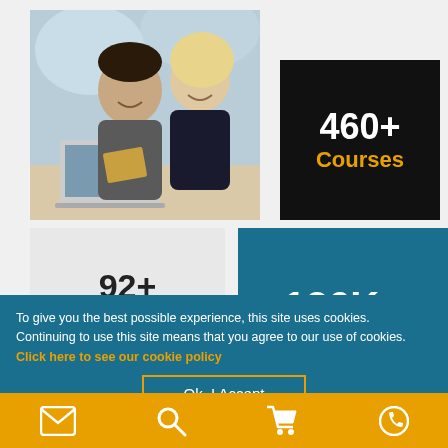[Figure (photo): Two people, a man and woman, smiling and looking at a laptop together]
460+
Courses
92+
Locations
126K+
To give you the best possible experience, this site uses cookies. Continuing to use this site means that you agree to our use of cookies. Click here to see our cookie policy
Ok, I Accept
[Figure (infographic): Bottom navigation bar with email, search, cart, and phone icons on orange background]